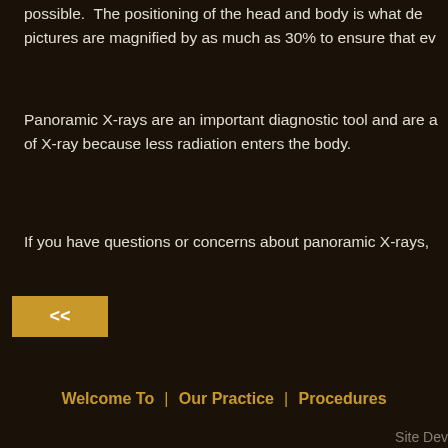possible. The positioning of the head and body is what de pictures are magnified by as much as 30% to ensure that ev
Panoramic X-rays are an important diagnostic tool and are a of X-ray because less radiation enters the body.
If you have questions or concerns about panoramic X-rays,
[Figure (other): Navigation back button with << symbol in gold/yellow background]
Welcome To | Our Practice | Procedures
Site Dev